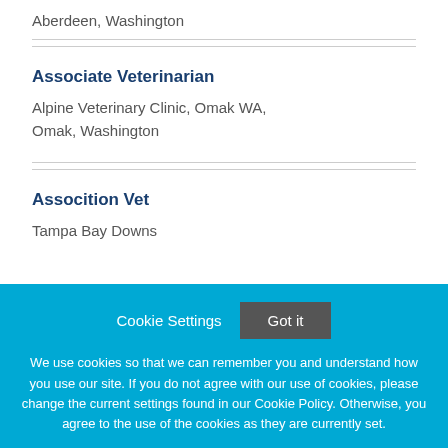Aberdeen, Washington
Associate Veterinarian
Alpine Veterinary Clinic, Omak WA,
Omak, Washington
Assocition Vet
Tampa Bay Downs
Cookie Settings   Got it
We use cookies so that we can remember you and understand how you use our site. If you do not agree with our use of cookies, please change the current settings found in our Cookie Policy. Otherwise, you agree to the use of the cookies as they are currently set.